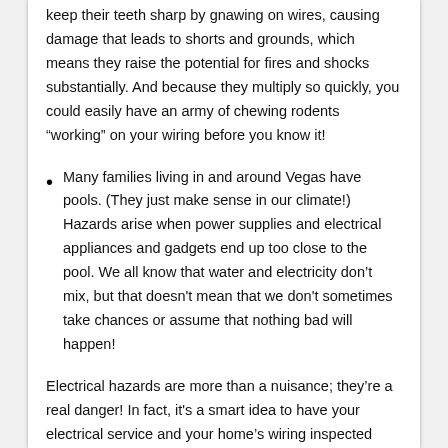keep their teeth sharp by gnawing on wires, causing damage that leads to shorts and grounds, which means they raise the potential for fires and shocks substantially. And because they multiply so quickly, you could easily have an army of chewing rodents “working” on your wiring before you know it!
Many families living in and around Vegas have pools. (They just make sense in our climate!) Hazards arise when power supplies and electrical appliances and gadgets end up too close to the pool. We all know that water and electricity don’t mix, but that doesn't mean that we don't sometimes take chances or assume that nothing bad will happen!
Electrical hazards are more than a nuisance; they’re a real danger! In fact, it's a smart idea to have your electrical service and your home’s wiring inspected from time to